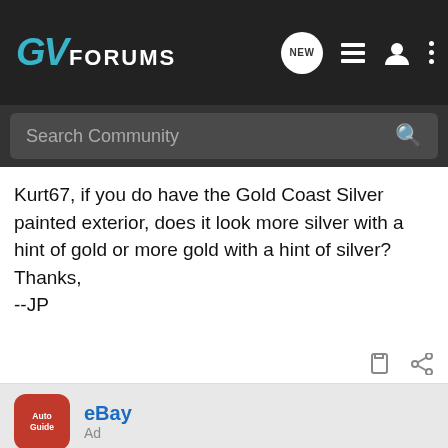GV FORUMS
Kurt67, if you do have the Gold Coast Silver painted exterior, does it look more silver with a hint of gold or more gold with a hint of silver? Thanks,
--JP
[Figure (screenshot): Ad header showing AutoGuide logo, eBay title and Ad label]
Check out AutoGuide's eBay Deals of The Week - Updated every week. This week's addition: 42% OFF! an Android vehicle monitor with dash cam and OBD2 scanner. And yes, it's CarPlay compatible.